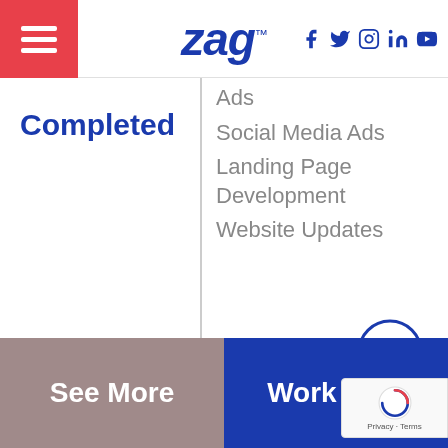[Figure (logo): Zag logo in blue italic bold text with TM superscript]
[Figure (logo): Social media icons: Facebook, Twitter, Instagram, LinkedIn, YouTube in dark blue]
Completed
Ads
Social Media Ads
Landing Page Development
Website Updates
[Figure (other): Up chevron arrow circle icon in blue outline]
See More
Work With